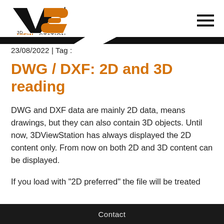[Figure (logo): 3D ViewStation logo with orange and black V/S mark and '3D VIEWSTATION' text]
23/08/2022 | Tag :
DWG / DXF: 2D and 3D reading
DWG and DXF data are mainly 2D data, means drawings, but they can also contain 3D objects. Until now, 3DViewStation has always displayed the 2D content only. From now on both 2D and 3D content can be displayed.
If you load with "2D preferred" the file will be treated
Contact